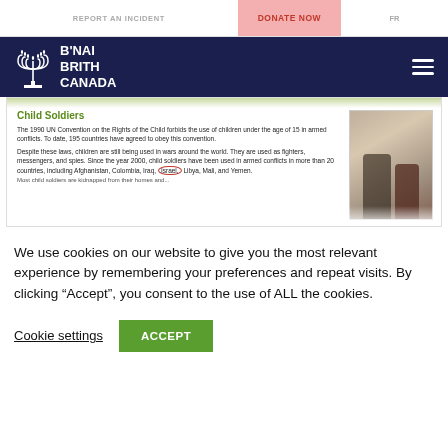REPORT AN INCIDENT | DONATE NOW | FR
[Figure (logo): B'Nai Brith Canada logo with menorah icon on dark navy background]
[Figure (screenshot): Screenshot of a textbook page showing 'Child Soldiers' section with text about the 1990 UN Convention on the Rights of the Child, with the word 'Israel' circled in red]
We use cookies on our website to give you the most relevant experience by remembering your preferences and repeat visits. By clicking “Accept”, you consent to the use of ALL the cookies.
Cookie settings
ACCEPT